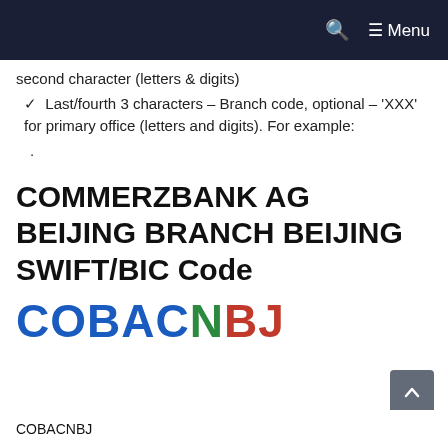🔍  ☰ Menu
second character (letters & digits)
✓  Last/fourth 3 characters – Branch code, optional – 'XXX' for primary office (letters and digits). For example:
.
COMMERZBANK AG BEIJING BRANCH BEIJING SWIFT/BIC Code
[Figure (other): SWIFT/BIC code displayed in large colored text: COBACNBJ — COBA in blue, N in green, BJ in red]
COBACNBJ